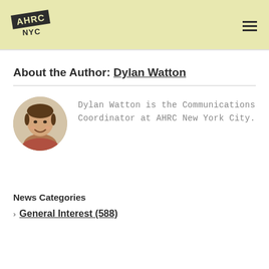AHRC NYC
About the Author: Dylan Watton
[Figure (photo): Circular headshot photo of Dylan Watton, a man smiling wearing a plaid shirt]
Dylan Watton is the Communications Coordinator at AHRC New York City.
News Categories
> General Interest (588)